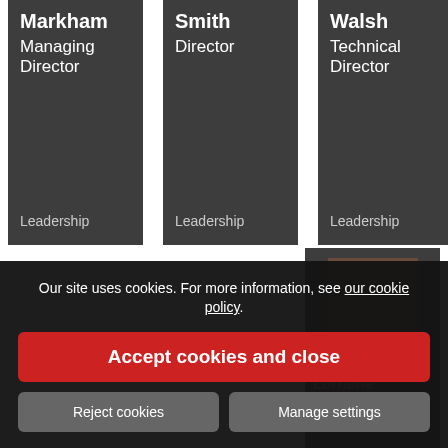Markham
Managing Director
Leadership
Smith
Director
Leadership
Walsh
Technical Director
Leadership
[Figure (photo): Partially visible profile photo of a person named Lorraine, Finance role, in a dark card]
Our site uses cookies. For more information, see our cookie policy.
Accept cookies and close
Reject cookies
Manage settings